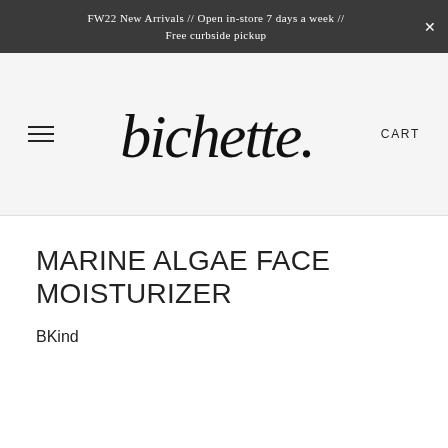FW22 New Arrivals // Open in-store 7 days a week // Free curbside pickup
[Figure (logo): bichette. script logo in handwritten style]
MARINE ALGAE FACE MOISTURIZER
BKind